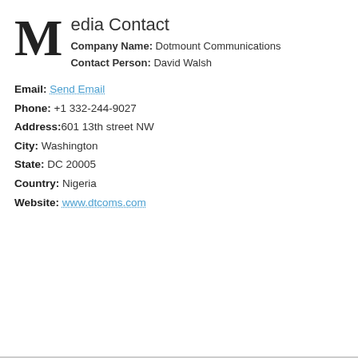Media Contact
Company Name: Dotmount Communications
Contact Person: David Walsh
Email: Send Email
Phone: +1 332-244-9027
Address: 601 13th street NW
City: Washington
State: DC 20005
Country: Nigeria
Website: www.dtcoms.com